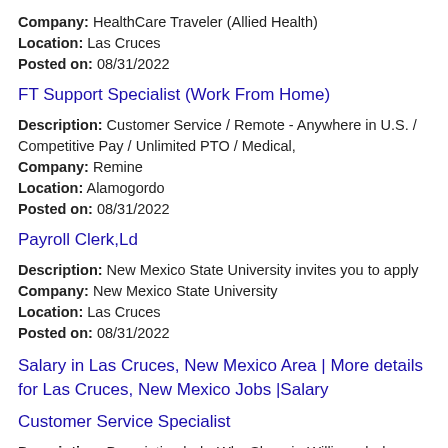Company: HealthCare Traveler (Allied Health)
Location: Las Cruces
Posted on: 08/31/2022
FT Support Specialist (Work From Home)
Description: Customer Service / Remote - Anywhere in U.S. / Competitive Pay / Unlimited PTO / Medical,
Company: Remine
Location: Alamogordo
Posted on: 08/31/2022
Payroll Clerk,Ld
Description: New Mexico State University invites you to apply
Company: New Mexico State University
Location: Las Cruces
Posted on: 08/31/2022
Salary in Las Cruces, New Mexico Area | More details for Las Cruces, New Mexico Jobs |Salary
Customer Service Specialist
Description: Description br br Why Sherwin-Williams br br Here, we believe there's not one path to success, we believe in careers that grow with you. Whoever you are or wherever you come from in the